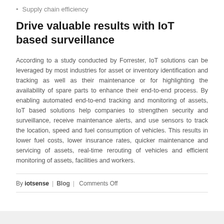Supply chain efficiency
Drive valuable results with IoT based surveillance
According to a study conducted by Forrester, IoT solutions can be leveraged by most industries for asset or inventory identification and tracking as well as their maintenance or for highlighting the availability of spare parts to enhance their end-to-end process. By enabling automated end-to-end tracking and monitoring of assets, IoT based solutions help companies to strengthen security and surveillance, receive maintenance alerts, and use sensors to track the location, speed and fuel consumption of vehicles. This results in lower fuel costs, lower insurance rates, quicker maintenance and servicing of assets, real-time rerouting of vehicles and efficient monitoring of assets, facilities and workers.
By iotsense | Blog | Comments Off